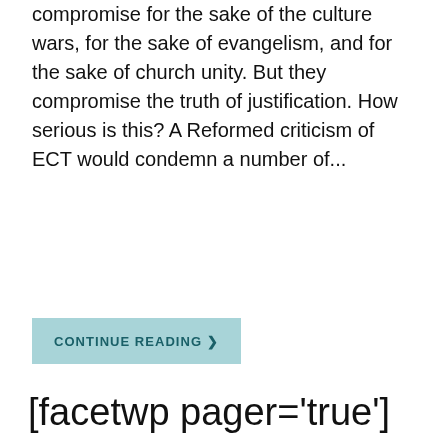compromise for the sake of the culture wars, for the sake of evangelism, and for the sake of church unity. But they compromise the truth of justification. How serious is this? A Reformed criticism of ECT would condemn a number of...
CONTINUE READING ❯
[facetwp pager='true']
[Figure (other): Pagination widget showing left arrow, active page 1 (dark teal box), page 2, and right arrow]